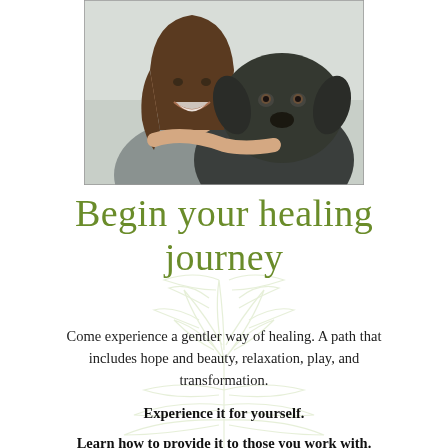[Figure (photo): A smiling woman with long brown hair hugging a dark gray/black Labrador dog, both looking at the camera. The woman is wearing a gray top.]
Begin your healing journey
Come experience a gentler way of healing. A path that includes hope and beauty, relaxation, play, and transformation.
Experience it for yourself.
Learn how to provide it to those you work with.